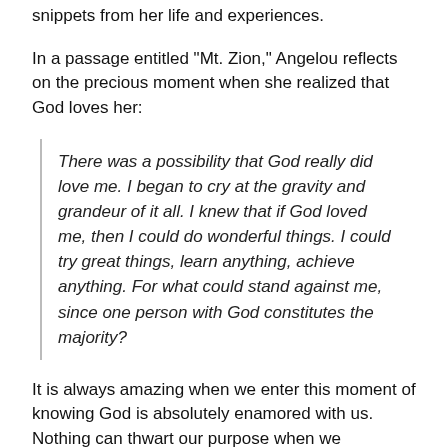snippets from her life and experiences.
In a passage entitled "Mt. Zion," Angelou reflects on the precious moment when she realized that God loves her:
There was a possibility that God really did love me. I began to cry at the gravity and grandeur of it all. I knew that if God loved me, then I could do wonderful things. I could try great things, learn anything, achieve anything. For what could stand against me, since one person with God constitutes the majority?
It is always amazing when we enter this moment of knowing God is absolutely enamored with us. Nothing can thwart our purpose when we encounter that profound love and allow it to possess us. We can walk in confidence that "come hell or high water"